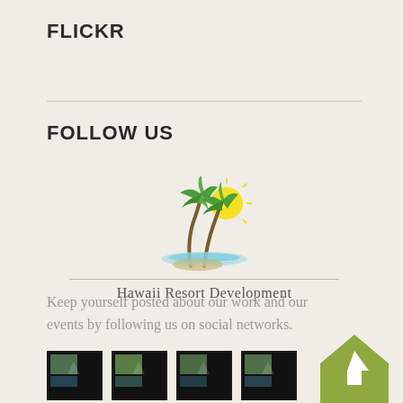FLICKR
FOLLOW US
[Figure (logo): Hawaii Resort Development logo with palm trees and sun over water, with text 'Hawaii Resort Development']
Keep yourself posted about our work and our events by following us on social networks.
[Figure (photo): Four small thumbnail images in a row]